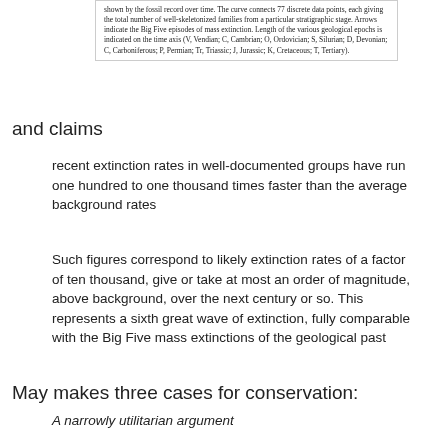shown by the fossil record over time. The curve connects 77 discrete data points, each giving the total number of well-skeletonized families from a particular stratigraphic stage. Arrows indicate the Big Five episodes of mass extinction. Length of the various geological epochs is indicated on the time axis (V, Vendian; C, Cambrian; O, Ordovician; S, Silurian; D, Devonian; C, Carboniferous; P, Permian; Tr, Triassic; J, Jurassic; K, Cretaceous; T, Tertiary).
and claims
recent extinction rates in well-documented groups have run one hundred to one thousand times faster than the average background rates
Such figures correspond to likely extinction rates of a factor of ten thousand, give or take at most an order of magnitude, above background, over the next century or so. This represents a sixth great wave of extinction, fully comparable with the Big Five mass extinctions of the geological past
May makes three cases for conservation:
A narrowly utilitarian argument